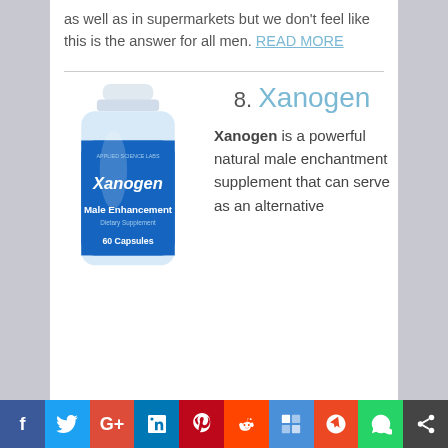as well as in supermarkets but we don't feel like this is the answer for all men. READ MORE
[Figure (photo): Xanogen Male Enhancement Dietary Supplement 60 Capsules bottle by Applied Science Labs]
8. Xanogen
Xanogen is a powerful natural male enchantment supplement that can serve as an alternative